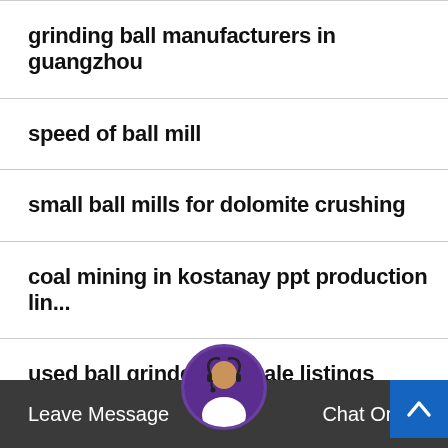grinding ball manufacturers in guangzhou
speed of ball mill
small ball mills for dolomite crushing
coal mining in kostanay ppt production lin...
used ball grinders for sale listings
ball mill initial charge chart